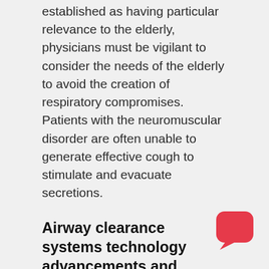established as having particular relevance to the elderly, physicians must be vigilant to consider the needs of the elderly to avoid the creation of respiratory compromises. Patients with the neuromuscular disorder are often unable to generate effective cough to stimulate and evacuate secretions.
Airway clearance systems technology advancements and industry trends
Increasing prevalence of Lung diseases such as COPD
Chronic obstructive pulmonary disease (COPD) is a chronic life-threatening lung disease that causes breathless...